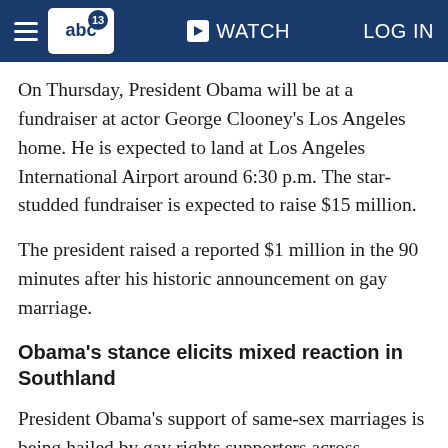abc13 WATCH LOG IN
On Thursday, President Obama will be at a fundraiser at actor George Clooney's Los Angeles home. He is expected to land at Los Angeles International Airport around 6:30 p.m. The star-studded fundraiser is expected to raise $15 million.
The president raised a reported $1 million in the 90 minutes after his historic announcement on gay marriage.
Obama's stance elicits mixed reaction in Southland
President Obama's support of same-sex marriages is being hailed by gay rights supporters across Southern California.
West Hollywood has long carried the torch for gay rights. On Wednesday, West Hollywood City Councilman John Duran described the president's endorsement of same-sex marriage